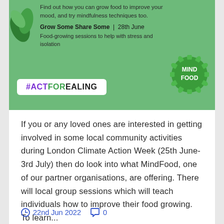Find out how you can grow food to improve your mood, and try mindfulness techniques too.
Grow Some Share Some | 28th June
Food-growing sessions to help with stress and isolation
#ACTFOREALING
[Figure (logo): MindFood circular green badge logo with text MIND FOOD]
If you or any loved ones are interested in getting involved in some local community activities during London Climate Action Week (25th June-3rd July) then do look into what MindFood, one of our partner organisations, are offering. There will local group sessions which will teach individuals how to improve their food growing. To learn...
Continue Reading →
22nd Jun 2022   0